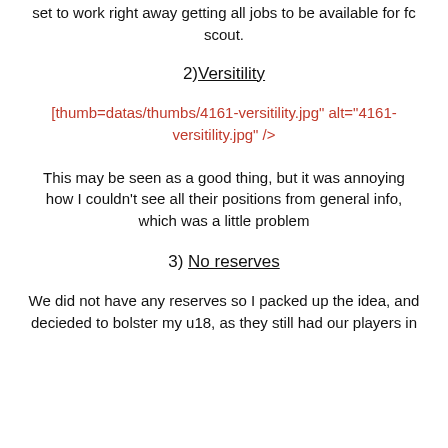set to work right away getting all jobs to be available for fc scout.
2)Versitility
[thumb=datas/thumbs/4161-versitility.jpg" alt="4161-versitility.jpg" />
This may be seen as a good thing, but it was annoying how I couldn't see all their positions from general info, which was a little problem
3) No reserves
We did not have any reserves so I packed up the idea, and decieded to bolster my u18, as they still had our players in